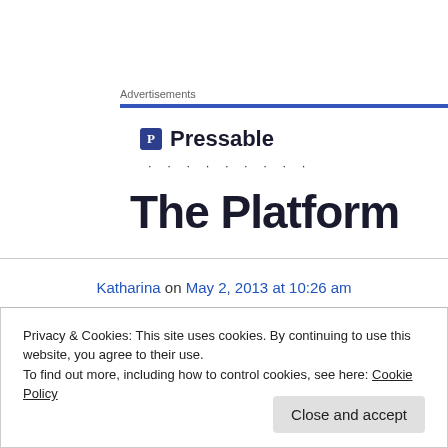Advertisements
[Figure (logo): Pressable logo with blue P icon and bold text 'Pressable', followed by dots and partial text 'The Platform']
Katharina on May 2, 2013 at 10:26 am
I take pleasure in, cause I found exactly what I
Privacy & Cookies: This site uses cookies. By continuing to use this website, you agree to their use.
To find out more, including how to control cookies, see here: Cookie Policy